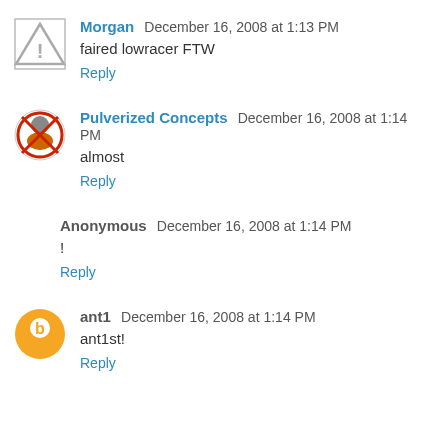Morgan  December 16, 2008 at 1:13 PM
faired lowracer FTW
Reply
Pulverized Concepts  December 16, 2008 at 1:14 PM
almost
Reply
Anonymous  December 16, 2008 at 1:14 PM
!
Reply
ant1  December 16, 2008 at 1:14 PM
ant1st!
Reply